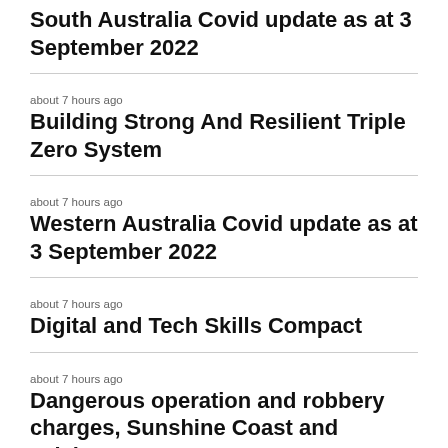South Australia Covid update as at 3 September 2022
about 7 hours ago
Building Strong And Resilient Triple Zero System
about 7 hours ago
Western Australia Covid update as at 3 September 2022
about 7 hours ago
Digital and Tech Skills Compact
about 7 hours ago
Dangerous operation and robbery charges, Sunshine Coast and Brisbane
about 7 hours ago